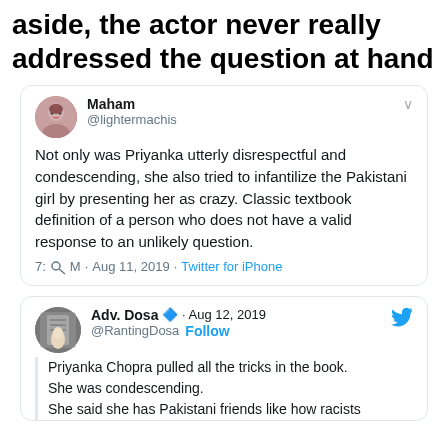aside, the actor never really addressed the question at hand
[Figure (screenshot): Tweet by @lightermachis (Maham): Not only was Priyanka utterly disrespectful and condescending, she also tried to infantilize the Pakistani girl by presenting her as crazy. Classic textbook definition of a person who does not have a valid response to an unlikely question. 7:M · Aug 11, 2019 · Twitter for iPhone]
[Figure (screenshot): Tweet by @RantingDosa (Adv. Dosa) · Aug 12, 2019 · Follow: Priyanka Chopra pulled all the tricks in the book. She was condescending. She said she has Pakistani friends like how racists]